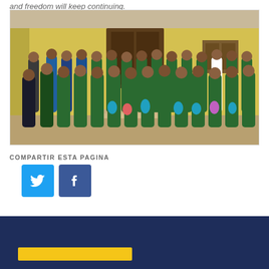and freedom will keep continuing.
[Figure (photo): Group photo of approximately 30 girls in green scout uniforms with white tights, standing in front of a yellow building. Two adults stand on the left side. The girls are holding colorful bags.]
COMPARTIR ESTA PAGINA
[Figure (infographic): Twitter and Facebook social share buttons. Twitter button is light blue with bird icon; Facebook button is dark blue with F icon.]